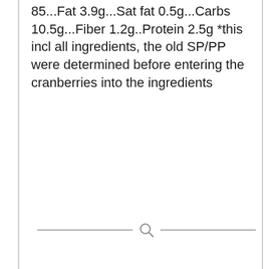85...Fat 3.9g...Sat fat 0.5g...Carbs 10.5g...Fiber 1.2g..Protein 2.5g *this incl all ingredients, the old SP/PP were determined before entering the cranberries into the ingredients